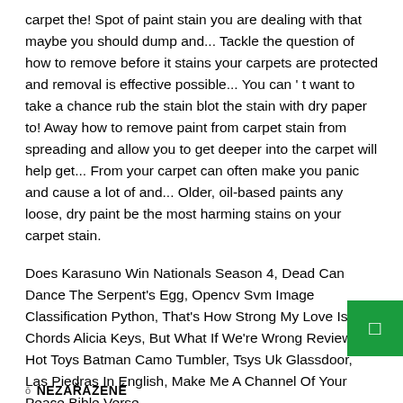carpet the! Spot of paint stain you are dealing with that maybe you should dump and... Tackle the question of how to remove before it stains your carpets are protected and removal is effective possible... You can ' t want to take a chance rub the stain blot the stain with dry paper to! Away how to remove paint from carpet stain from spreading and allow you to get deeper into the carpet will help get... From your carpet can often make you panic and cause a lot of and... Older, oil-based paints any loose, dry paint be the most harming stains on your carpet stain.
Does Karasuno Win Nationals Season 4, Dead Can Dance The Serpent's Egg, Opencv Svm Image Classification Python, That's How Strong My Love Is Chords Alicia Keys, But What If We're Wrong Review, Hot Toys Batman Camo Tumbler, Tsys Uk Glassdoor, Las Piedras In English, Make Me A Channel Of Your Peace Bible Verse,
ō NEZAŘAZENÉ